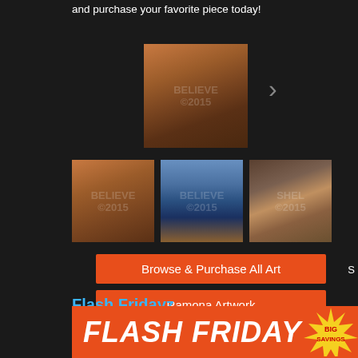and purchase your favorite piece today!
[Figure (photo): Gallery of landscape/canyon art photos with a right arrow navigation control. One large thumbnail on top center, three smaller thumbnails below.]
Browse & Purchase All Art
Ramona Artwork
Flash Fridayz
Every Friday I choose a print that will be offered at a discounted price or for sale directly.
[Figure (infographic): Flash Friday banner with orange background, bold white italic text reading FLASH FRIDAY, and a yellow starburst badge reading BIG SAVINGS]